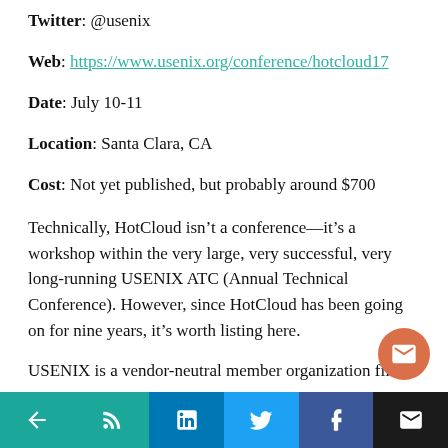Twitter: @usenix
Web: https://www.usenix.org/conference/hotcloud17
Date: July 10-11
Location: Santa Clara, CA
Cost: Not yet published, but probably around $700
Technically, HotCloud isn’t a conference—it’s a workshop within the very large, very successful, very long-running USENIX ATC (Annual Technical Conference). However, since HotCloud has been going on for nine years, it’s worth listing here.
USENIX is a vendor-neutral member organization filled